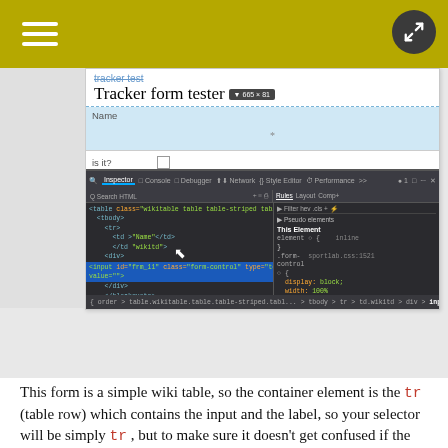[Figure (screenshot): Screenshot of a browser showing a Tracker form tester page with a Firefox developer tools inspector panel open at the bottom, showing HTML source and CSS rules for a form input element.]
This form is a simple wiki table, so the container element is the tr (table row) which contains the input and the label, so your selector will be simply tr , but to make sure it doesn't get confused if the table's inside another one use